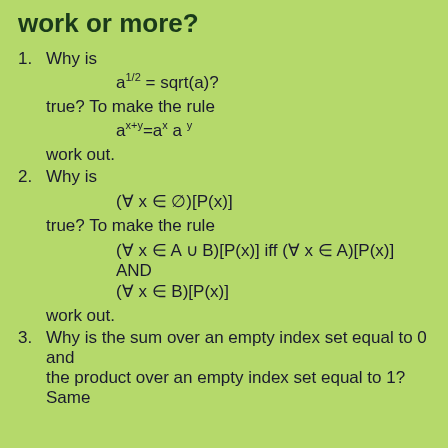work or more?
1. Why is a^(1/2) = sqrt(a)? true? To make the rule a^(x+y)=a^x a^y work out.
2. Why is (∀ x ∈ ∅)[P(x)] true? To make the rule (∀ x ∈ A ∪ B)[P(x)] iff (∀ x ∈ A)[P(x)] AND (∀ x ∈ B)[P(x)] work out.
3. Why is the sum over an empty index set equal to 0 and the product over an empty index set equal to 1? Same